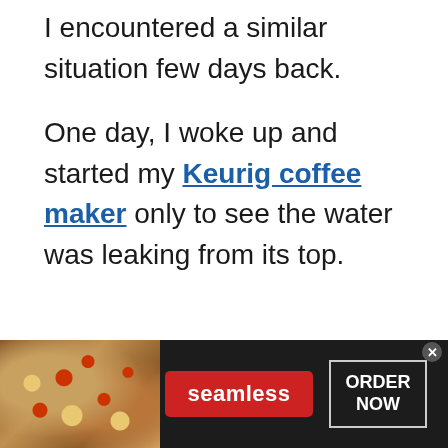I encountered a similar situation few days back.
One day, I woke up and started my Keurig coffee maker only to see the water was leaking from its top.
[Figure (infographic): Seamless food delivery advertisement banner showing pizza slices on the left, a red 'seamless' button in the middle, and an 'ORDER NOW' button on the right with a close (x) button in the top-right corner.]